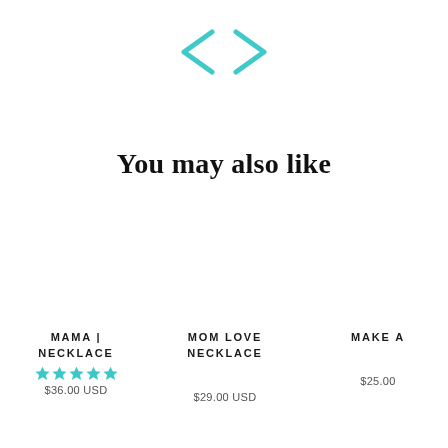[Figure (other): Navigation arrows (left and right chevrons) in teal/cyan color for a product carousel]
You may also like
MAMA | NECKLACE
★★★★★
$36.00 USD
MOM LOVE NECKLACE
$29.00 USD
MAKE A
$25.00